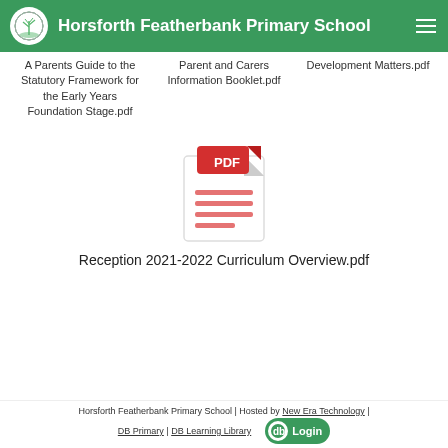Horsforth Featherbank Primary School
A Parents Guide to the Statutory Framework for the Early Years Foundation Stage.pdf
Parent and Carers Information Booklet.pdf
Development Matters.pdf
[Figure (illustration): PDF document icon with red PDF label tab]
Reception 2021-2022 Curriculum Overview.pdf
Horsforth Featherbank Primary School | Hosted by New Era Technology | DB Primary | DB Learning Library